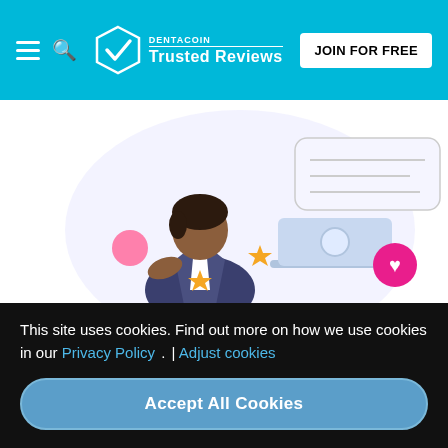DENTACOIN Trusted Reviews | JOIN FOR FREE
[Figure (illustration): Illustration of a woman with dark hair sitting at a laptop computer, with a speech bubble, star icons, and a pink heart icon. Background is light lavender/white circle.]
You may involve your patients as you invite them to write a Trusted Review on your Dentacoin page.
This site uses cookies. Find out more on how we use cookies in our Privacy Policy . | Adjust cookies
Accept All Cookies